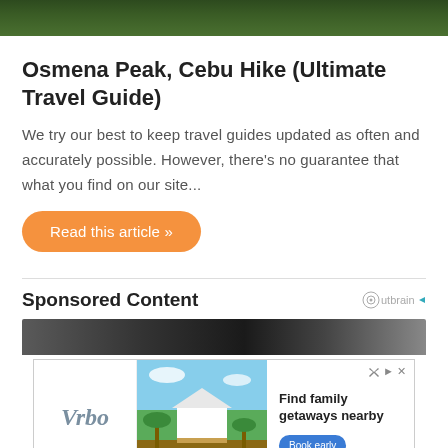[Figure (photo): Top portion of a lush green forest/vegetation photo (cropped)]
Osmena Peak, Cebu Hike (Ultimate Travel Guide)
We try our best to keep travel guides updated as often and accurately possible. However, there's no guarantee that what you find on our site...
Read this article »
Sponsored Content
[Figure (photo): Sponsored content banner image strip (dark, partially visible)]
[Figure (advertisement): Vrbo advertisement showing a beach house with palm trees. Text: Find family getaways nearby. Button: Book early]